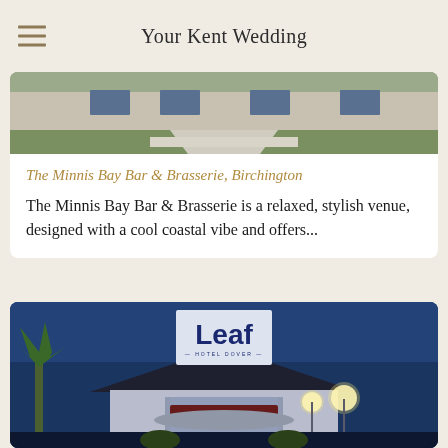Your Kent Wedding
[Figure (photo): Exterior photo of The Minnis Bay Bar & Brasserie building with paved path and lawn]
The Minnis Bay Bar & Brasserie, Birchington
The Minnis Bay Bar & Brasserie is a relaxed, stylish venue, designed with a cool coastal vibe and offers...
[Figure (photo): Exterior night photo of Leaf Hotel Dover showing illuminated Leaf sign, hotel entrance with RECEPTION signage, globe lights, and palm tree]